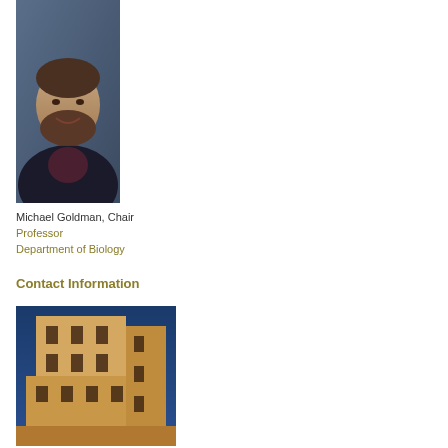[Figure (photo): Headshot portrait of Michael Goldman, a bearded man in a dark suit jacket, against a blue-grey background]
Michael Goldman, Chair
Professor
Department of Biology
Contact Information
[Figure (photo): Exterior photo of a tan/sandstone multi-story university building shot from below against a deep blue sky]